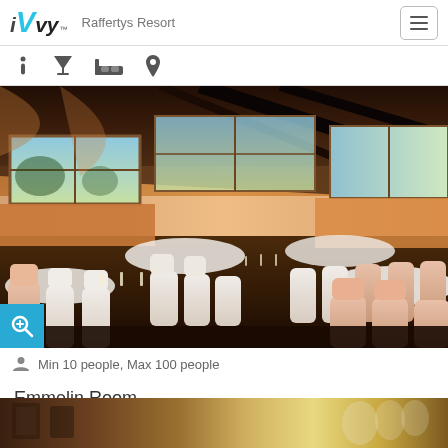iVvy  Raffertys Resort
[Figure (screenshot): Navigation icon bar with info (i), cocktail glass, bed, and location pin icons]
[Figure (photo): Banquet hall set up for an event with white chair covers, draped tables, large windows, and warm orange/amber decor]
Min 10 people, Max 100 people
Emmelin Room
[Figure (photo): Bottom portion of another room photo showing warm amber/golden lighting]